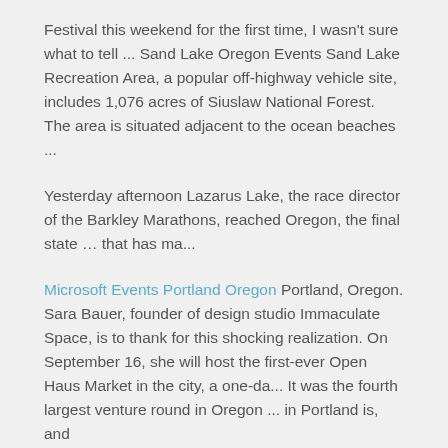Festival this weekend for the first time, I wasn't sure what to tell ... Sand Lake Oregon Events Sand Lake Recreation Area, a popular off-highway vehicle site, includes 1,076 acres of Siuslaw National Forest. The area is situated adjacent to the ocean beaches ...
Yesterday afternoon Lazarus Lake, the race director of the Barkley Marathons, reached Oregon, the final state ... that has ma...
Microsoft Events Portland Oregon Portland, Oregon. Sara Bauer, founder of design studio Immaculate Space, is to thank for this shocking realization. On September 16, she will host the first-ever Open Haus Market in the city, a one-da... It was the fourth largest venture round in Oregon ... in Portland is, and